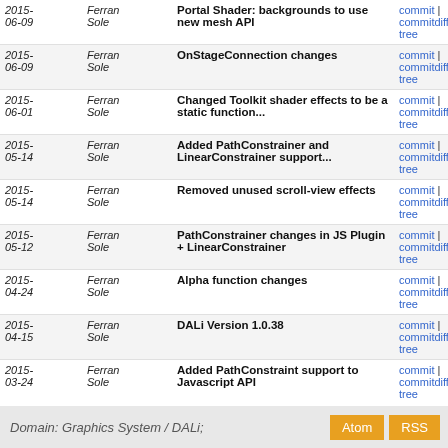| Date | Author | Message | Links |
| --- | --- | --- | --- |
| 2015-06-09 | Ferran Sole | Portal Shader: backgrounds to use new mesh API | commit | commitdiff | tree |
| 2015-06-09 | Ferran Sole | OnStageConnection changes | commit | commitdiff | tree |
| 2015-06-01 | Ferran Sole | Changed Toolkit shader effects to be a static function... | commit | commitdiff | tree |
| 2015-05-14 | Ferran Sole | Added PathConstrainer and LinearConstrainer support... | commit | commitdiff | tree |
| 2015-05-14 | Ferran Sole | Removed unused scroll-view effects | commit | commitdiff | tree |
| 2015-05-12 | Ferran Sole | PathConstrainer changes in JS Plugin + LinearConstrainer | commit | commitdiff | tree |
| 2015-04-24 | Ferran Sole | Alpha function changes | commit | commitdiff | tree |
| 2015-04-15 | Ferran Sole | DALi Version 1.0.38 | commit | commitdiff | tree |
| 2015-03-24 | Ferran Sole | Added PathConstraint support to Javascript API | commit | commitdiff | tree |
| 2015-02-18 | Ferran Sole | DALi Version 1.0.30 | commit | commitdiff | tree |
| 2014-12-01 | Ferran Sole | Adding support in Builder for path animations | commit | commitdiff | tree |
| 2014-08-15 | Ferran Sole | Updated Programming guide with information on stereoscopic... | commit | commitdiff | tree |
Domain: Graphics System / DALi;